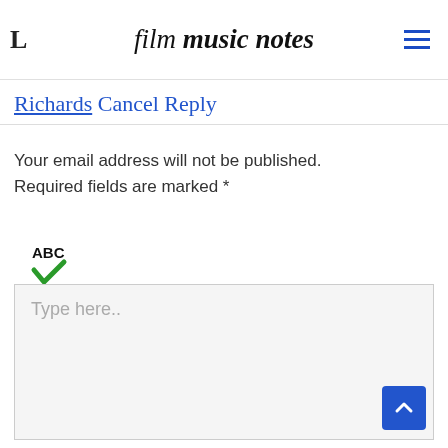film music notes
Richards Cancel Reply
Your email address will not be published. Required fields are marked *
[Figure (other): ABC spell-check icon with green checkmark]
Type here..